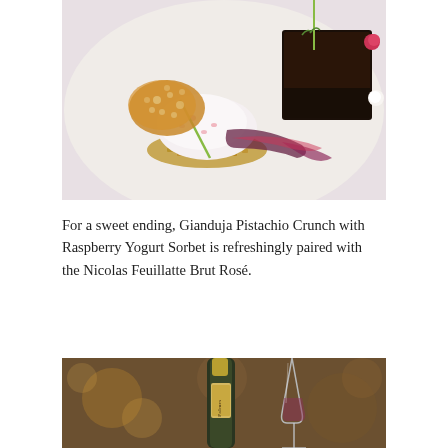[Figure (photo): Close-up of a plated dessert on a white plate: a white yogurt sorbet quenelle on a pistachio crunch base, a lace tuile cookie, berry coulis, and a chocolate ganache square with garnishes.]
For a sweet ending, Gianduja Pistachio Crunch with Raspberry Yogurt Sorbet is refreshingly paired with the Nicolas Feuillatte Brut Rosé.
[Figure (photo): Partial view of a restaurant table setting with a champagne bottle labeled 'Palmes' and a wine glass, with warm bokeh background lighting.]